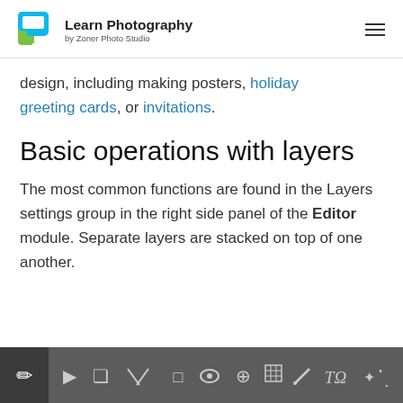Learn Photography by Zoner Photo Studio
design, including making posters, holiday greeting cards, or invitations.
Basic operations with layers
The most common functions are found in the Layers settings group in the right side panel of the Editor module. Separate layers are stacked on top of one another.
[Figure (screenshot): Toolbar with icons for hand tool, selection, crop, perspective, lasso, eye/visibility, move, grid, pen, text, and sparkle tools on a dark gray background]